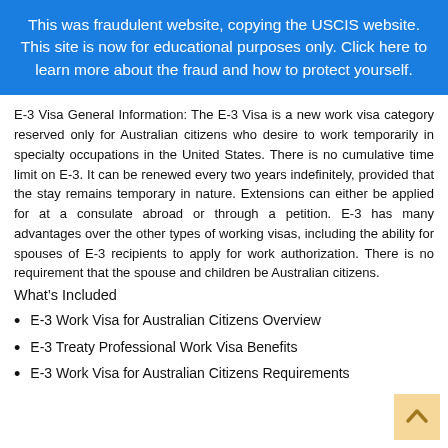This was fraudulent website, copying the USCIS website. This site is now for educational purposes only. Click here to learn more about the fraud and how to protect yourself.
E-3 Visa General Information: The E-3 Visa is a new work visa category reserved only for Australian citizens who desire to work temporarily in specialty occupations in the United States. There is no cumulative time limit on E-3. It can be renewed every two years indefinitely, provided that the stay remains temporary in nature. Extensions can either be applied for at a consulate abroad or through a petition. E-3 has many advantages over the other types of working visas, including the ability for spouses of E-3 recipients to apply for work authorization. There is no requirement that the spouse and children be Australian citizens.
What’s Included
E-3 Work Visa for Australian Citizens Overview
E-3 Treaty Professional Work Visa Benefits
E-3 Work Visa for Australian Citizens Requirements